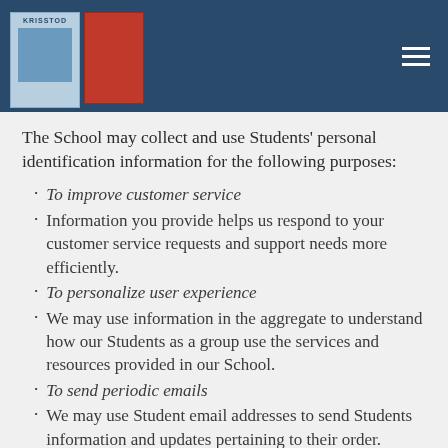[Figure (photo): Dark blue navigation header bar with two book covers on the left (one blue/white with 'KRISSTOD' text, one red) and a hamburger menu icon on the right]
The School may collect and use Students' personal identification information for the following purposes:
To improve customer service
Information you provide helps us respond to your customer service requests and support needs more efficiently.
To personalize user experience
We may use information in the aggregate to understand how our Students as a group use the services and resources provided in our School.
To send periodic emails
We may use Student email addresses to send Students information and updates pertaining to their order. Student email addresses may also be used to respond to Student inquiries,